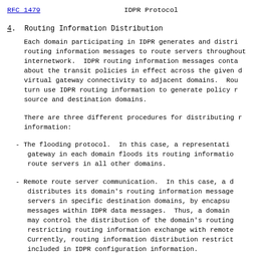RFC 1479    IDPR Protocol
4.  Routing Information Distribution
Each domain participating in IDPR generates and distributes routing information messages to route servers throughout the internetwork. IDPR routing information messages contain about the transit policies in effect across the given domain, virtual gateway connectivity to adjacent domains. Route servers in turn use IDPR routing information to generate policy routes between source and destination domains.
There are three different procedures for distributing routing information:
- The flooding protocol. In this case, a representative gateway in each domain floods its routing information to route servers in all other domains.
- Remote route server communication. In this case, a domain distributes its domain's routing information messages to route servers in specific destination domains, by encapsulating the messages within IDPR data messages. Thus, a domain administrator may control the distribution of the domain's routing information, restricting routing information exchange with remote domains. Currently, routing information distribution restrictions are included in IDPR configuration information.